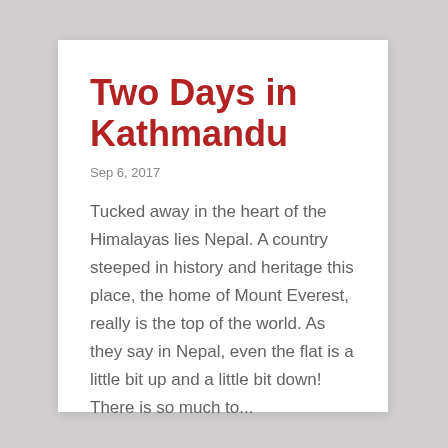Two Days in Kathmandu
Sep 6, 2017
Tucked away in the heart of the Himalayas lies Nepal. A country steeped in history and heritage this place, the home of Mount Everest, really is the top of the world. As they say in Nepal, even the flat is a little bit up and a little bit down! There is so much to...